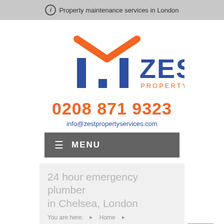i Property maintenance services in London
[Figure (logo): Zest Property Services logo with orange roof/house shape and blue bracket letter forms, with text ZEST PROPERTY SERVICES]
0208 871 9323
info@zestpropertyservices.com
≡ MENU
24 hour emergency plumber in Chelsea, London
You are here: ▶ Home ▶
24 hour emergency plumber in Chelsea, London